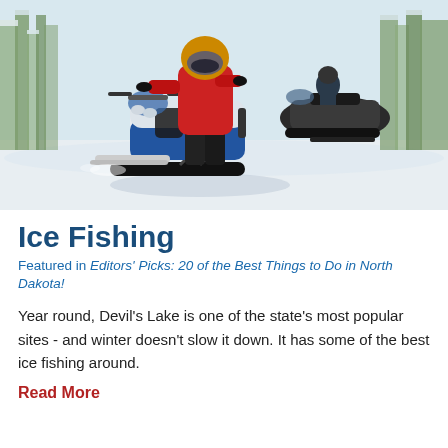[Figure (photo): Two snowmobiles on a snow-covered trail through a winter forest. The front snowmobile is white and blue with a rider in a red jacket and helmet. A second darker snowmobile follows behind.]
Ice Fishing
Featured in Editors' Picks: 20 of the Best Things to Do in North Dakota!
Year round, Devil's Lake is one of the state's most popular sites - and winter doesn't slow it down. It has some of the best ice fishing around.
Read More